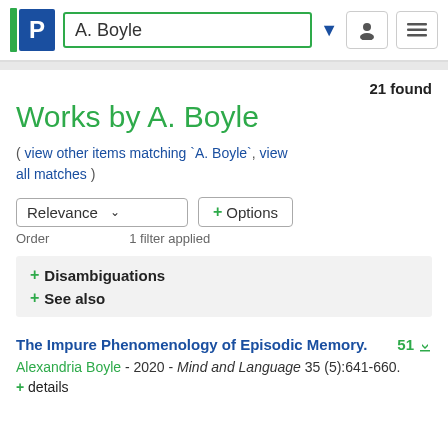A. Boyle
21 found
Works by A. Boyle
( view other items matching `A. Boyle`, view all matches )
Relevance   + Options
Order   1 filter applied
+ Disambiguations
+ See also
The Impure Phenomenology of Episodic Memory.   51
Alexandria Boyle - 2020 - Mind and Language 35 (5):641-660.
+ details